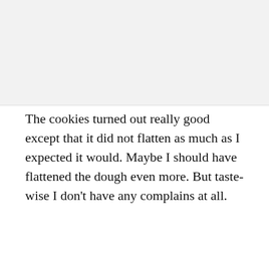[Figure (photo): Food photo placeholder — light grey rectangle at top of page]
The cookies turned out really good except that it did not flatten as much as I expected it would. Maybe I should have flattened the dough even more. But taste-wise I don't have any complains at all.
[Figure (illustration): Decorative olive/gold scrollwork divider]
Double Chocolate Chip Cookies Recipe
|  |  |
| --- | --- |
| Prep Time | 15 Mins + |
| Cook Time | 10-12 Mins |